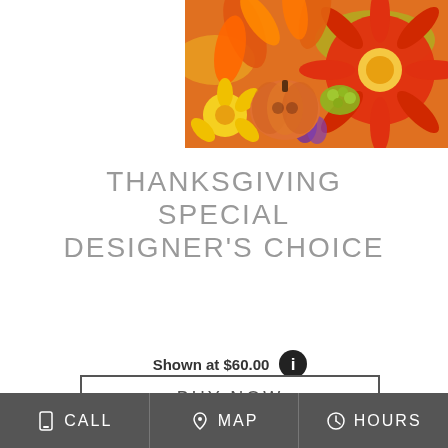[Figure (photo): Autumn floral arrangement with orange gerbera daisies, orange lilies, yellow flowers, purple accents, and a small orange pumpkin]
THANKSGIVING SPECIAL DESIGNER'S CHOICE
Shown at $60.00
BUY NOW
CALL  MAP  HOURS